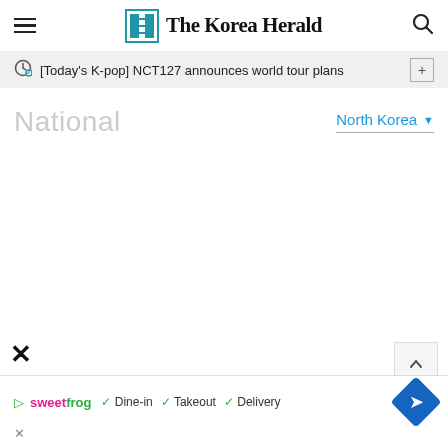The Korea Herald
[Today's K-pop] NCT127 announces world tour plans
National
North Korea
[Figure (screenshot): Advertisement banner showing SweetFrog logo with checkmarks for Dine-in, Takeout, Delivery options and a blue map/directions icon]
✓ Dine-in  ✓ Takeout  ✓ Delivery